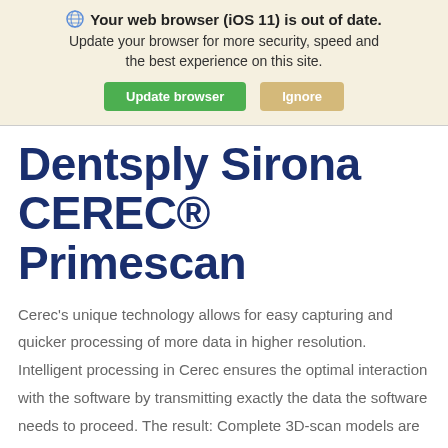[Figure (screenshot): Browser outdated warning banner with globe icon, bold text 'Your web browser (iOS 11) is out of date.', subtitle text, and two buttons: 'Update browser' (green) and 'Ignore' (tan).]
Dentsply Sirona CEREC® Primescan
Cerec's unique technology allows for easy capturing and quicker processing of more data in higher resolution. Intelligent processing in Cerec ensures the optimal interaction with the software by transmitting exactly the data the software needs to proceed. The result: Complete 3D-scan models are